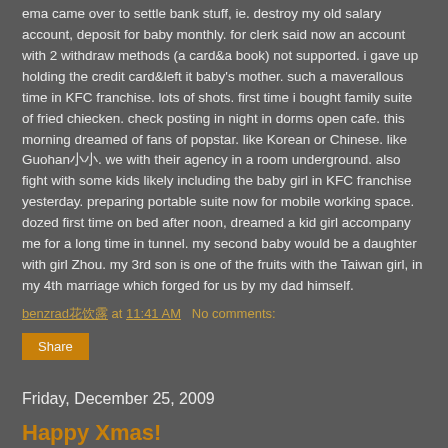ema came over to settle bank stuff, ie. destroy my old salary account, deposit for baby monthly. for clerk said now an account with 2 withdraw methods (a card&a book) not supported. i gave up holding the credit card&left it baby's mother. such a maverallous time in KFC franchise. lots of shots. first time i bought family suite of fried chiecken. check posting in night in dorms open cafe. this morning dreamed of fans of popstar. like Korean or Chinese. like Guohan小小. we with their agency in a room underground. also fight with some kids likely including the baby girl in KFC franchise yesterday. preparing portable suite now for mobile working space. dozed first time on bed after noon, dreamed a kid girl accompany me for a long time in tunnel. my second baby would be a daughter with girl Zhou. my 3rd son is one of the fruits with the Taiwan girl, in my 4th marriage which forged for us by my dad himself.
benzrad花饮露 at 11:41 AM   No comments:
Share
Friday, December 25, 2009
Happy Xmas!